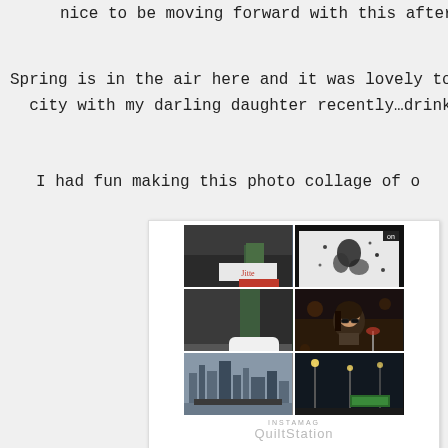nice to be moving forward with this after
Spring is in the air here and it was lovely to sp city with my darling daughter recently…drinks
I had fun making this photo collage of o
[Figure (photo): A photo collage showing 4 images: top-left shows a restaurant/shop exterior with a white scooter, top-right shows a dance/art poster on a screen, middle-right shows a woman at a restaurant, bottom-left shows a city skyline/river view, bottom-right shows a nighttime street scene. Below the collage is an INSTAMAG label with QuiltStation text.]